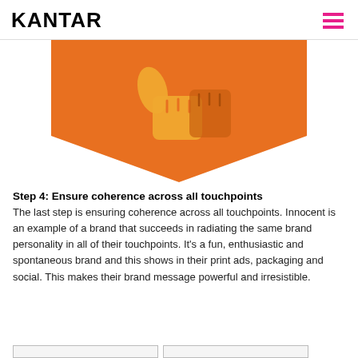KANTAR
[Figure (illustration): Orange pentagon/shield shape with a thumbs-up icon (hand giving thumbs up gesture) in lighter orange/yellow on orange background, pointing downward like an arrow badge.]
Step 4: Ensure coherence across all touchpoints
The last step is ensuring coherence across all touchpoints. Innocent is an example of a brand that succeeds in radiating the same brand personality in all of their touchpoints. It’s a fun, enthusiastic and spontaneous brand and this shows in their print ads, packaging and social. This makes their brand message powerful and irresistible.